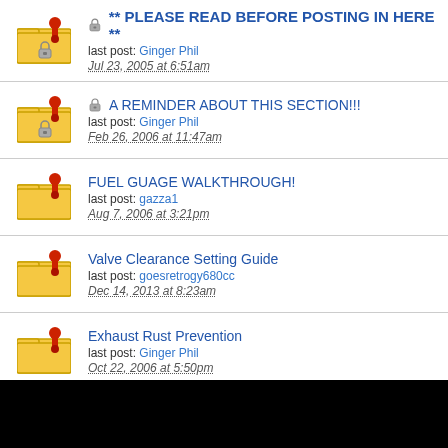** PLEASE READ BEFORE POSTING IN HERE ** | last post: Ginger Phil | Jul 23, 2005 at 6:51am
A REMINDER ABOUT THIS SECTION!!! | last post: Ginger Phil | Feb 26, 2006 at 11:47am
FUEL GUAGE WALKTHROUGH! | last post: gazza1 | Aug 7, 2006 at 3:21pm
Valve Clearance Setting Guide | last post: goesretrogy680cc | Dec 14, 2013 at 8:23am
Exhaust Rust Prevention | last post: Ginger Phil | Oct 22, 2006 at 5:50pm
What oil should i buy and where do you put it in ? | last post: goesretrogy680cc | Dec 14, 2013 at 8:51am
Spark Plug (partial)